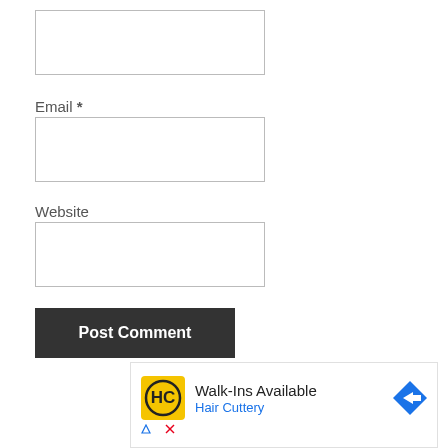[Figure (screenshot): Empty text input box at top of form]
Email *
[Figure (screenshot): Email input text box]
Website
[Figure (screenshot): Website input text box]
[Figure (screenshot): Post Comment button (dark background, white bold text)]
[Figure (infographic): Advertisement overlay: HC Hair Cuttery logo, 'Walk-Ins Available' text, 'Hair Cuttery' subtitle in blue, direction arrow icon]